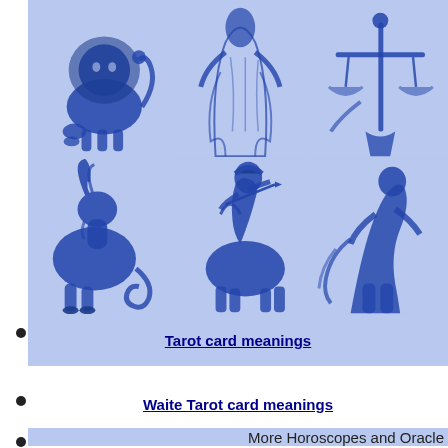[Figure (illustration): Grid of zodiac sign illustrations in blue tones on light blue background. Top row: Leo (lion), Virgo (maiden), Libra (scales). Bottom row: Capricorn (goat), Sagittarius (archer/centaur), and a third figure (Aquarius or similar).]
Tarot card meanings
Waite Tarot card meanings
More Horoscopes and Oracle